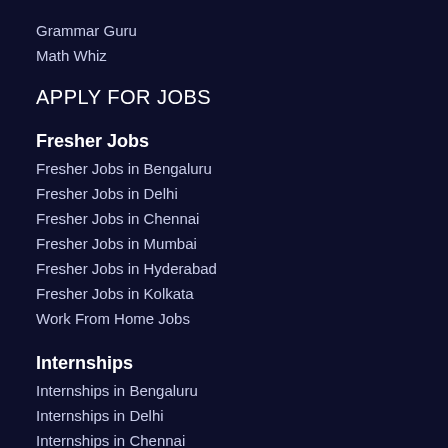Grammar Guru
Math Whiz
APPLY FOR JOBS
Fresher Jobs
Fresher Jobs in Bengaluru
Fresher Jobs in Delhi
Fresher Jobs in Chennai
Fresher Jobs in Mumbai
Fresher Jobs in Hyderabad
Fresher Jobs in Kolkata
Work From Home Jobs
Internships
Internships in Bengaluru
Internships in Delhi
Internships in Chennai
Internships in Mumbai